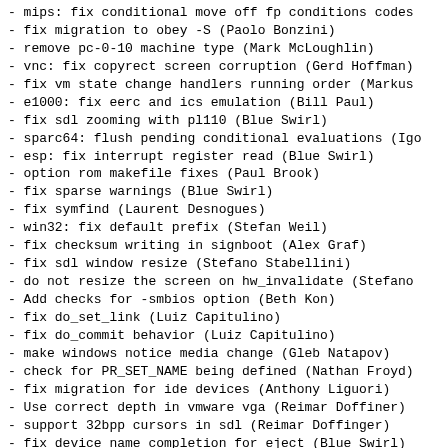- mips: fix conditional move off fp conditions codes
- fix migration to obey -S (Paolo Bonzini)
- remove pc-0-10 machine type (Mark McLoughlin)
- vnc: fix copyrect screen corruption (Gerd Hoffman)
- fix vm state change handlers running order (Markus
- e1000: fix eerc and ics emulation (Bill Paul)
- fix sdl zooming with pl110 (Blue Swirl)
- sparc64: flush pending conditional evaluations (Igo
- esp: fix interrupt register read (Blue Swirl)
- option rom makefile fixes (Paul Brook)
- fix sparse warnings (Blue Swirl)
- fix symfind (Laurent Desnogues)
- win32: fix default prefix (Stefan Weil)
- fix checksum writing in signboot (Alex Graf)
- fix sdl window resize (Stefano Stabellini)
- do not resize the screen on hw_invalidate (Stefano
- Add checks for -smbios option (Beth Kon)
- fix do_set_link (Luiz Capitulino)
- fix do_commit behavior (Luiz Capitulino)
- make windows notice media change (Gleb Natapov)
- check for PR_SET_NAME being defined (Nathan Froyd)
- fix migration for ide devices (Anthony Liguori)
- Use correct depth in vmware vga (Reimar Doffiner)
- support 32bpp cursors in sdl (Reimar Doffinger)
- fix device name completion for eject (Blue Swirl)
- make screendump use DisplayState properly (Stefano
- fix autostart with live migration (Avi Kivity)
- fix detached migration with exec (Chris Lalancette)
- fix segv when changing vnc password in sdl (Zach An
- fix vnc password clearing with stdio monitor (Zach
- clean up VGA type selection (Zach Amsden)